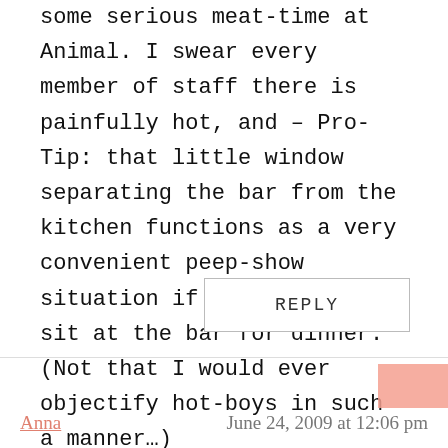just came back from a trip to LA and did some serious meat-time at Animal. I swear every member of staff there is painfully hot, and – Pro-Tip: that little window separating the bar from the kitchen functions as a very convenient peep-show situation if you choose to sit at the bar for dinner. (Not that I would ever objectify hot-boys in such a manner…)
REPLY
Anna
June 24, 2009 at 12:06 pm